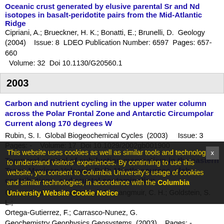Oceanic crust generated by elusive parental Sr and Nd isotopes in basalt-peridotite pairs from the Mid-Atlantic Ridge
Cipriani, A.; Brueckner, H. K.; Bonatti, E.; Brunelli, D.  Geology (2004)    Issue: 8  LDEO Publication Number: 6597  Pages: 657-660  Volume: 32  Doi 10.1130/G20560.1
2003
Carbon and nutrient cycling in the upper water column across the Polar Frontal Zone and Antarctic Circumpolar Current along 170 degrees W
Rubin, S. I.  Global Biogeochemical Cycles  (2003)    Issue: 3 Pages: -    Volume: 17  Doi 10.1029/2002gb001900
Temporal control of subduction magmatism in the eastern Trans-Mexican Volcanic Belt: Mantle sources, slab contributions, and crustal contamination
Gomez-Tuena, A.; LaGatta, A. B.; Langmuir, C. H.; Goldstein, S. L.; Ortega-Gutierrez, F.; Carrasco-Nunez, G.  Geochemistry Geophysics Geosystems  (2003)    Pages: -    Volume: 4  Doi 10.1029/2003gc000524
This website uses cookies as well as similar tools and technologies to understand visitors' experiences. By continuing to use this website, you consent to Columbia University's usage of cookies and similar technologies, in accordance with the Columbia University Website Cookie Notice